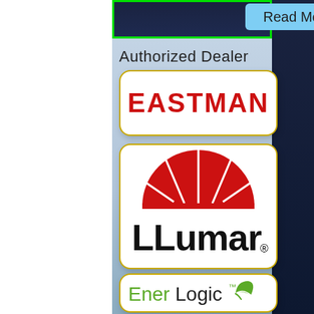[Figure (screenshot): Read More button on dark navigation bar with green border]
Authorized Dealer
[Figure (logo): EASTMAN logo in red bold text on white rounded card with gold border]
[Figure (logo): LLumar logo with red segmented sun/dome icon above black bold LLumar text with registered trademark, on white rounded card with gold border]
[Figure (logo): EnerLogic logo in green and black text with green leaf icon, on white rounded card with gold border]